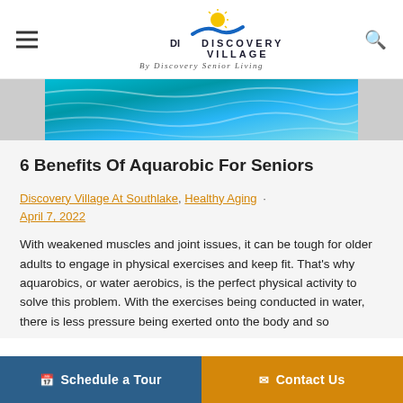Discovery Village By Discovery Senior Living
[Figure (photo): Pool/water image showing blue aquatic water surface]
6 Benefits Of Aquarobic For Seniors
Discovery Village At Southlake, Healthy Aging · April 7, 2022
With weakened muscles and joint issues, it can be tough for older adults to engage in physical exercises and keep fit. That's why aquarobics, or water aerobics, is the perfect physical activity to solve this problem. With the exercises being conducted in water, there is less pressure being exerted onto the body and so
Schedule a Tour   Contact Us